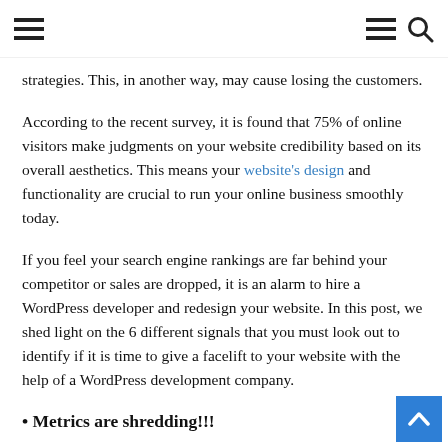[navigation bar with hamburger menu icons and search icon]
strategies. This, in another way, may cause losing the customers.
According to the recent survey, it is found that 75% of online visitors make judgments on your website credibility based on its overall aesthetics. This means your website's design and functionality are crucial to run your online business smoothly today.
If you feel your search engine rankings are far behind your competitor or sales are dropped, it is an alarm to hire a WordPress developer and redesign your website. In this post, we shed light on the 6 different signals that you must look out to identify if it is time to give a facelift to your website with the help of a WordPress development company.
• Metrics are shredding!!!